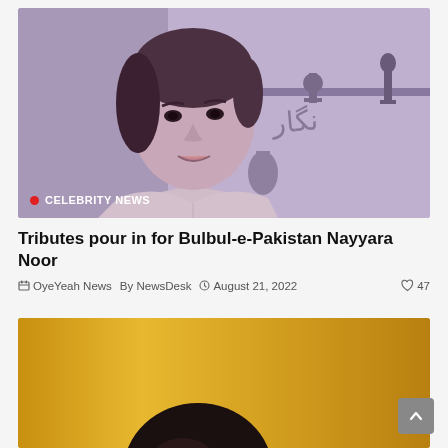[Figure (photo): Black and white / purple-tinted vintage photo of a young woman (Nayyara Noor) smiling, with trophies and awards visible in the background. A 'CELEBRITY NEWS' badge with a red dot appears at the bottom left of the image.]
Tributes pour in for Bulbul-e-Pakistan Nayyara Noor
OyeYeah News  By NewsDesk  August 21, 2022  47
[Figure (photo): Partial photo of a person against a golden/yellow background, only the top of the head visible as image is cropped at bottom of page.]